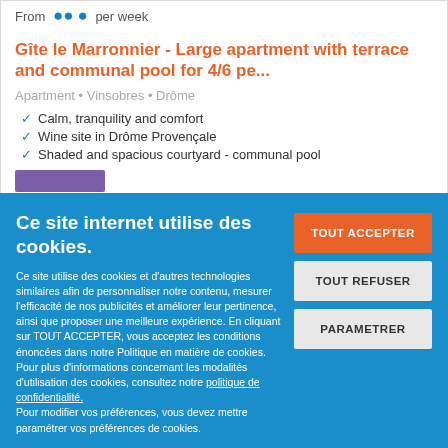From ... per week
Gîte le Marronnier - Large apartment with terrace and communal pool for 4/6 pe...
Apartment • Vinsobres • Drôme
Calm, tranquility and comfort
Wine site in Drôme Provençale
Shaded and spacious courtyard - communal pool
Ce site internet utilise des cookies.
Ce site utilise des cookies et d'autres technologies similaires afin de personnaliser notre contenu, mesurer l'efficacité de nos publicités et améliorer leur pertinence, ainsi que proposer une meilleure expérience. En cliquant sur TOUT ACCEPTER, vous acceptez les conditions énoncées dans notre Politique en matière de cookies.
Pour plus d'informations concernant les modalités d'utilisation des cookies, consultez notre politique de confidentialité.
Pour modifier vos préférences, vous devez mettre paramétrer vos préférences de cookies.
TOUT ACCEPTER
TOUT REFUSER
PARAMETRER